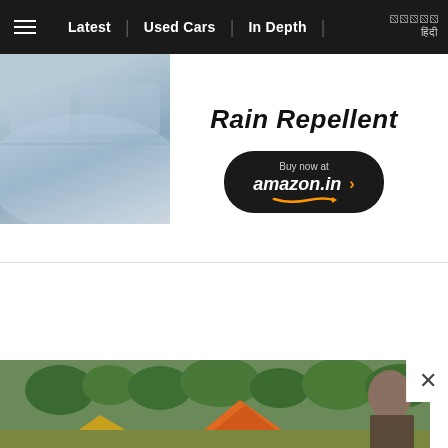≡  Latest | Used Cars | In Depth | हिंदी
[Figure (screenshot): Advertisement banner showing Rain Repellent product with car image on left, 'Rain Repellent' title text and 'Buy now at amazon.in >' button on dark rounded rectangle]
HOME • NEWS • FEWER ACCIDENTS ON ROADS ...
[Figure (photo): Outdoor street scene with colorful tents/canopies (orange, yellow) and trees in background, partial view of a person on right side]